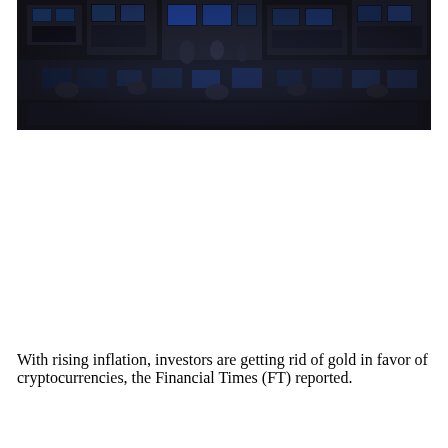[Figure (photo): Aerial view of a busy trading floor with multiple monitors, computer screens, and many traders working at their stations. The image is dark with blue-toned screens visible throughout.]
With rising inflation, investors are getting rid of gold in favor of cryptocurrencies, the Financial Times (FT) reported.